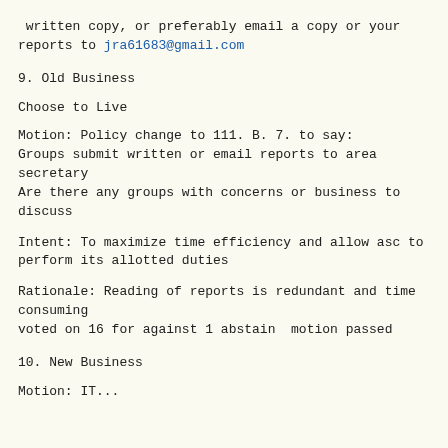written copy, or preferably email a copy or your reports to jra61683@gmail.com
9. Old Business
Choose to Live
Motion: Policy change to 111. B. 7. to say:
Groups submit written or email reports to area secretary
Are there any groups with concerns or business to discuss
Intent: To maximize time efficiency and allow asc to perform its allotted duties
Rationale: Reading of reports is redundant and time consuming
voted on 16 for against 1 abstain  motion passed
10. New Business
Motion: IT...